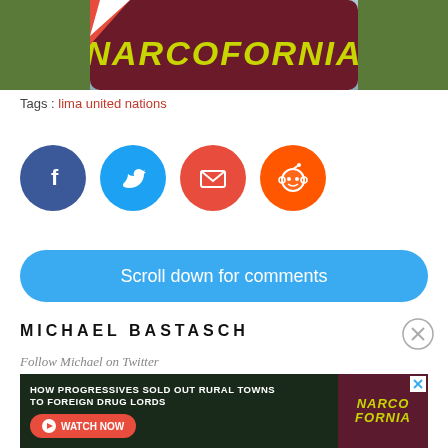[Figure (photo): Hero image showing person holding a dark red book/sign with yellow text reading NARCOFORNIA]
Tags : lima united nations
[Figure (infographic): Four social share buttons: Facebook (dark blue), Twitter (light blue), Email (red), Reddit (orange)]
Scroll down for comments
MICHAEL BASTASCH
Follow Michael on Twitter
[Figure (screenshot): Advertisement banner: HOW PROGRESSIVES SOLD OUT RURAL TOWNS TO FOREIGN DRUG LORDS — WATCH NOW button — NARCOFORNIA logo]